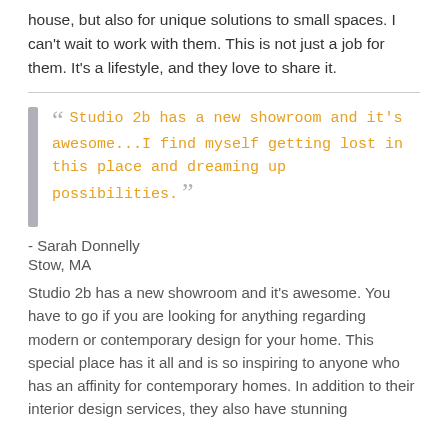house, but also for unique solutions to small spaces. I can't wait to work with them. This is not just a job for them. It's a lifestyle, and they love to share it.
" Studio 2b has a new showroom and it's awesome...I find myself getting lost in this place and dreaming up possibilities. "
- Sarah Donnelly
Stow, MA
Studio 2b has a new showroom and it's awesome. You have to go if you are looking for anything regarding modern or contemporary design for your home. This special place has it all and is so inspiring to anyone who has an affinity for contemporary homes. In addition to their interior design services, they also have stunning